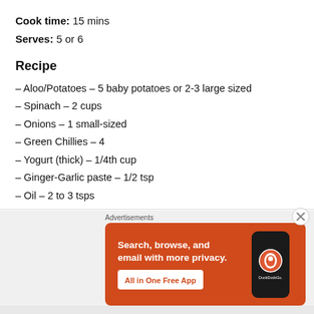Cook time: 15 mins
Serves: 5 or 6
Recipe
– Aloo/Potatoes – 5 baby potatoes or 2-3 large sized
– Spinach – 2 cups
– Onions – 1 small-sized
– Green Chillies – 4
– Yogurt (thick) – 1/4th cup
– Ginger-Garlic paste – 1/2 tsp
– Oil – 2 to 3 tsps
[Figure (illustration): DuckDuckGo advertisement banner: orange background with text 'Search, browse, and email with more privacy. All in One Free App' and a phone showing the DuckDuckGo logo]